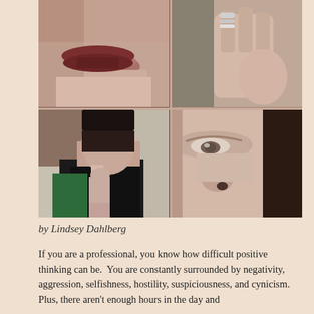[Figure (photo): 2x2 grid of four photographs of a young woman with dark hair. Top-left: close-up of lips and chin with hand resting beneath. Top-right: close-up of hand with silver rings pressed to face/nose area. Bottom-left: full face shot of woman in black jacket sitting in office chair, resting chin on hand, looking upward. Bottom-right: extreme close-up of woman's eyes and nose.]
by Lindsey Dahlberg
If you are a professional, you know how difficult positive thinking can be.  You are constantly surrounded by negativity, aggression, selfishness, hostility, suspiciousness, and cynicism.  Plus, there aren't enough hours in the day and